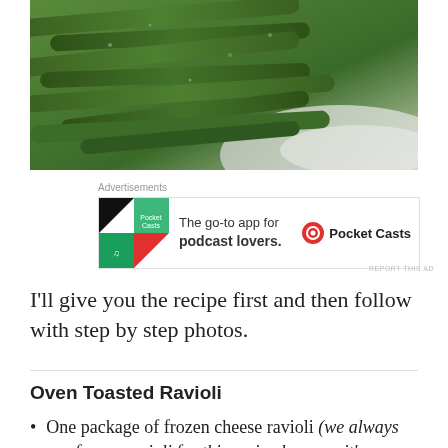[Figure (photo): Close-up photo of green beans on a white plate]
[Figure (other): Advertisement for Pocket Casts: 'The go-to app for podcast lovers.' with Pocket Casts logo]
I'll give you the recipe first and then follow with step by step photos.
Oven Toasted Ravioli
One package of frozen cheese ravioli (we always use frozen ravioli for this recipe because it's cheaper than the refrigerated